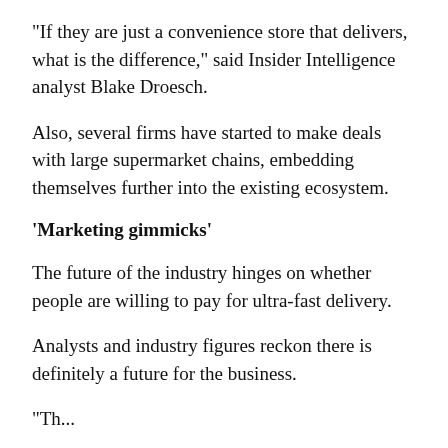"If they are just a convenience store that delivers, what is the difference," said Insider Intelligence analyst Blake Droesch.
Also, several firms have started to make deals with large supermarket chains, embedding themselves further into the existing ecosystem.
'Marketing gimmicks'
The future of the industry hinges on whether people are willing to pay for ultra-fast delivery.
Analysts and industry figures reckon there is definitely a future for the business.
"The...